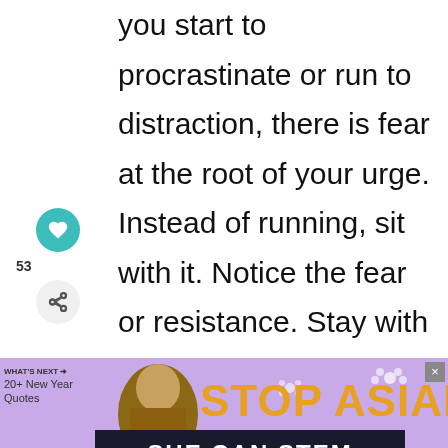you start to procrastinate or run to distraction, there is fear at the root of your urge. Instead of running, sit with it. Notice the fear or resistance. Stay with this feeling, become intimate with it, be friendly towards it, smile at it. Stay, stay, until it dissolves.
[Figure (screenshot): Social media sidebar with heart/like button showing teal circle with heart icon, count of 53, and a share button]
[Figure (screenshot): Advertisement banner with purple background showing 'STOP ASIAN HATE' text in orange bold letters with flower decorations, a thumbnail image, and 'WHAT'S NEXT - 20+ New Year Quotes' text on left side]
[Figure (screenshot): Dark advertisement banner with dark navy background showing 'SHE CAN STEM' text in white bold letters and a logo on the right]